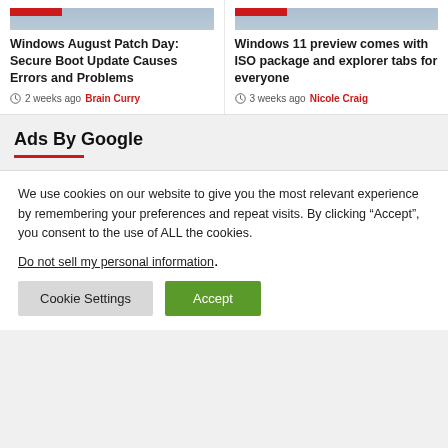[Figure (screenshot): Article card image for Windows August Patch Day article with red label bar]
Windows August Patch Day: Secure Boot Update Causes Errors and Problems
2 weeks ago  Brain Curry
[Figure (screenshot): Article card image for Windows 11 preview article with red label bar]
Windows 11 preview comes with ISO package and explorer tabs for everyone
3 weeks ago  Nicole Craig
Ads By Google
We use cookies on our website to give you the most relevant experience by remembering your preferences and repeat visits. By clicking “Accept”, you consent to the use of ALL the cookies.
Do not sell my personal information.
Cookie Settings  Accept